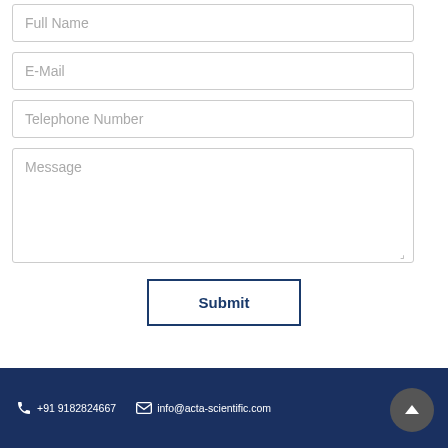Full Name
E-Mail
Telephone Number
Message
Submit
+91 9182824667   info@acta-scientific.com